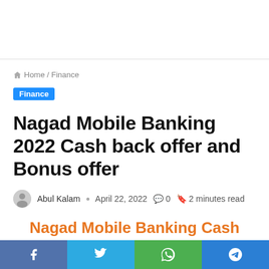Home / Finance
Finance
Nagad Mobile Banking 2022 Cash back offer and Bonus offer
Abul Kalam · April 22, 2022 · 0 · 2 minutes read
Nagad Mobile Banking Cash back & Bonus offer
Facebook · Twitter · WhatsApp · Telegram